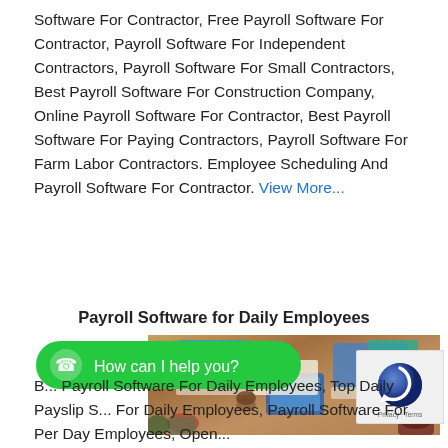Software For Contractor, Free Payroll Software For Contractor, Payroll Software For Independent Contractors, Payroll Software For Small Contractors, Best Payroll Software For Construction Company, Online Payroll Software For Contractor, Best Payroll Software For Paying Contractors, Payroll Software For Farm Labor Contractors. Employee Scheduling And Payroll Software For Contractor. View More...
Payroll Software for Daily Employees
[Figure (photo): Overhead view of people sitting around a wooden table working on laptops and tablets]
[Figure (other): Green WhatsApp button with text 'How can I help you?']
[Figure (other): Google reCAPTCHA widget]
Best Payroll Software For Daily Employees, Top Daily Payslip Software For Daily Employees, Payroll Software For Per Day Employees, Open...